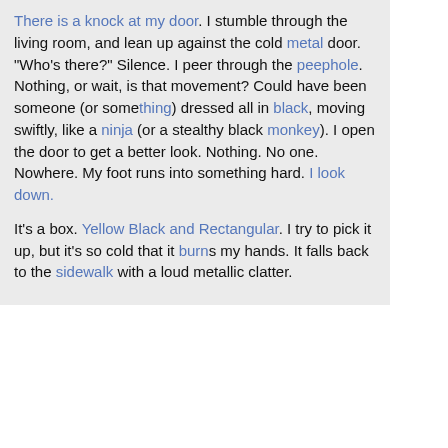There is a knock at my door. I stumble through the living room, and lean up against the cold metal door. "Who's there?" Silence. I peer through the peephole. Nothing, or wait, is that movement? Could have been someone (or something) dressed all in black, moving swiftly, like a ninja (or a stealthy black monkey). I open the door to get a better look. Nothing. No one. Nowhere. My foot runs into something hard. I look down.
It's a box. Yellow Black and Rectangular. I try to pick it up, but it's so cold that it burns my hands. It falls back to the sidewalk with a loud metallic clatter.